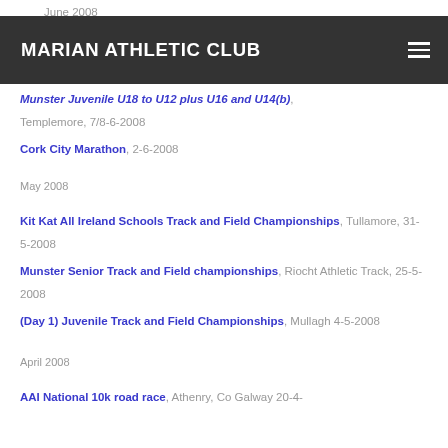June 2008
MARIAN ATHLETIC CLUB
Munster Juvenile U18 to U12 plus U16 and U14(b), Templemore, 7/8-6-2008
Cork City Marathon, 2-6-2008
May 2008
Kit Kat All Ireland Schools Track and Field Championships, Tullamore, 31-5-2008
Munster Senior Track and Field championships, Riocht Athletic Track, 25-5-2008
(Day 1) Juvenile Track and Field Championships, Mullagh 4-5-2008
April 2008
AAI National 10k road race, Athenry, Co Galway 20-4-